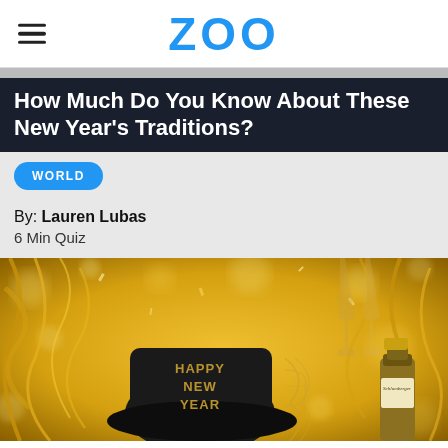ZOO
How Much Do You Know About These New Year's Traditions?
WORLD
By: Lauren Lubas
6 Min Quiz
[Figure (photo): New Year's celebration photo showing a black hat with 'HAPPY NEW YEAR' written in gold, surrounded by gold streamers, ribbons, and a champagne bottle (Schlumberger) against a glittery gold background.]